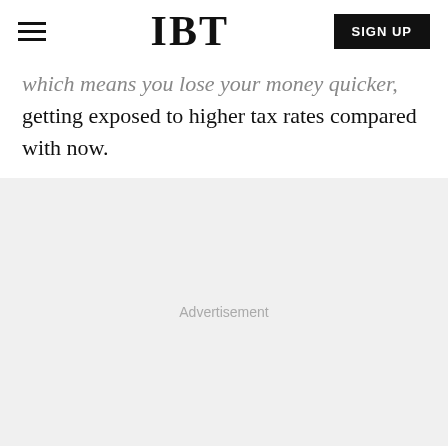IBT
which means you lose your money quicker, getting exposed to higher tax rates compared with now.
[Figure (other): Advertisement placeholder area with light grey background and 'Advertisement' label centered]